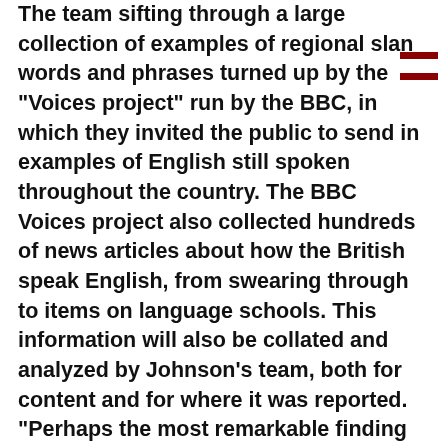The team sifting through a large collection of examples of regional slang words and phrases turned up by the "Voices project" run by the BBC, in which they invited the public to send in examples of English still spoken throughout the country. The BBC Voices project also collected hundreds of news articles about how the British speak English, from swearing through to items on language schools. This information will also be collated and analyzed by Johnson's team, both for content and for where it was reported. "Perhaps the most remarkable finding in the Voices study is that the English language is as diverse as ever, despite our increased mobility and constant exposure to other accents and dialects through TV and radio"  When discussing the award of the grant in 2007, Leeds University stated: